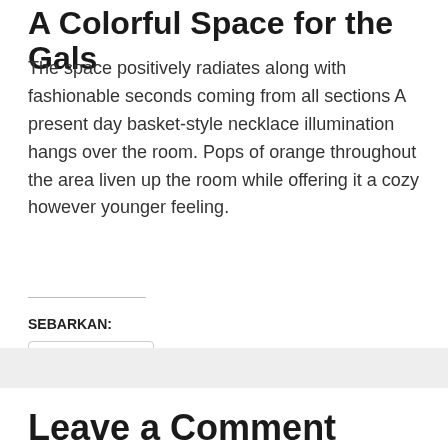A Colorful Space for the Gals
The space positively radiates along with fashionable seconds coming from all sections A present day basket-style necklace illumination hangs over the room. Pops of orange throughout the area liven up the room while offering it a cozy however younger feeling.
SEBARKAN: WhatsApp
Leave a Comment